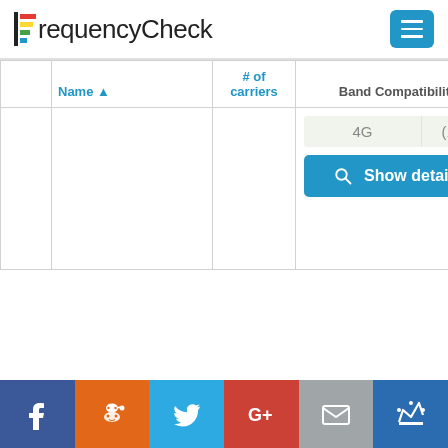FrequencyCheck
|  | Name ▲ | # of carriers | Band Compatibility |
| --- | --- | --- | --- |
|  |  |  | 4G (1/1)
Show details |
Facebook | Reddit | Twitter | Google+ | Email | Crown